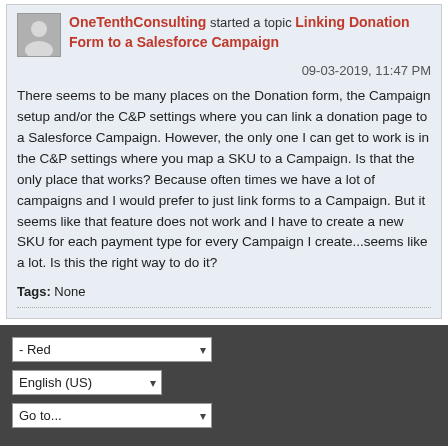OneTenthConsulting started a topic Linking Donation Form to a Salesforce Campaign
09-03-2019, 11:47 PM
There seems to be many places on the Donation form, the Campaign setup and/or the C&P settings where you can link a donation page to a Salesforce Campaign. However, the only one I can get to work is in the C&P settings where you map a SKU to a Campaign. Is that the only place that works? Because often times we have a lot of campaigns and I would prefer to just link forms to a Campaign. But it seems like that feature does not work and I have to create a new SKU for each payment type for every Campaign I create...seems like a lot. Is this the right way to do it?
Tags: None
Copyright 2000-2020, Click & Pledge
Powered by vBulletin® Version 5.6.9
Copyright © 2022 MH Sub I, LLC dba vBulletin. All rights reserved.
All times are GMT-5. This page was generated at 11:38 AM.